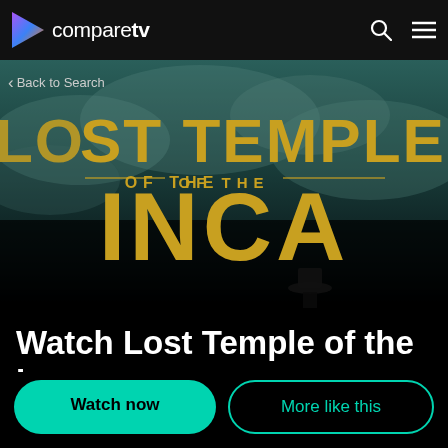compareTV
[Figure (screenshot): Hero banner showing 'Lost Temple of the Inca' movie title text in gold letters on a dark teal/cloudy background with a silhouetted figure in a hat at the bottom]
‹ Back to Search
Watch Lost Temple of the Inca 2020 in the UK
Watch now
More like this